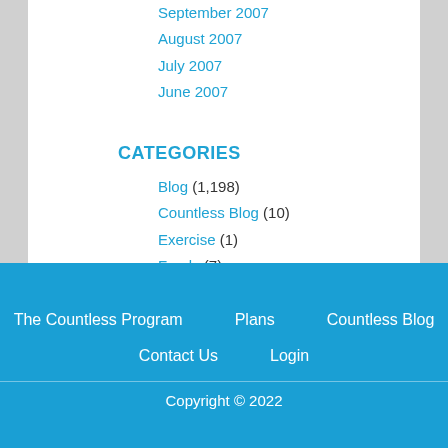September 2007
August 2007
July 2007
June 2007
CATEGORIES
Blog (1,198)
Countless Blog (10)
Exercise (1)
Foods (7)
Uncategorized (6)
The Countless Program  Plans  Countless Blog  Contact Us  Login  Copyright © 2022